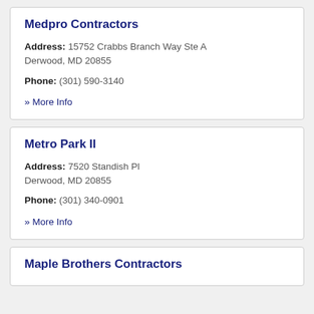Medpro Contractors
Address: 15752 Crabbs Branch Way Ste A Derwood, MD 20855
Phone: (301) 590-3140
» More Info
Metro Park II
Address: 7520 Standish Pl Derwood, MD 20855
Phone: (301) 340-0901
» More Info
Maple Brothers Contractors